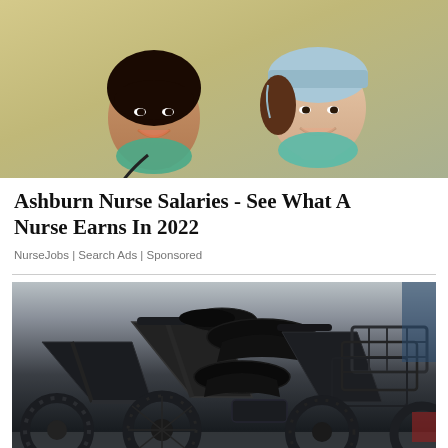[Figure (photo): Two smiling female nurses/medical professionals in blue scrubs and surgical masks pulled down, photographed from the upper body/torso angle against a tan/yellow-green background.]
Ashburn Nurse Salaries - See What A Nurse Earns In 2022
NurseJobs | Search Ads | Sponsored
[Figure (photo): Multiple black folding electric bicycles/e-bikes with fat tires and rear cargo racks, crowded together in what appears to be a warehouse or storage facility.]